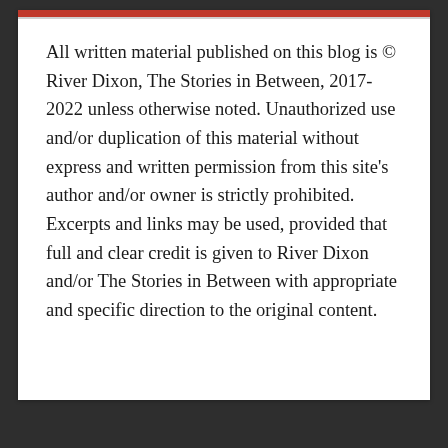All written material published on this blog is © River Dixon, The Stories in Between, 2017-2022 unless otherwise noted. Unauthorized use and/or duplication of this material without express and written permission from this site's author and/or owner is strictly prohibited. Excerpts and links may be used, provided that full and clear credit is given to River Dixon and/or The Stories in Between with appropriate and specific direction to the original content.